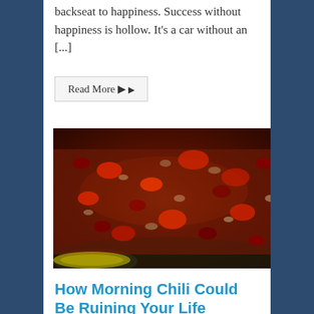backseat to happiness. Success without happiness is hollow. It's a car without an [...]
Read More ▶
[Figure (photo): Close-up photo of chili cooking in a dark pan, showing ground meat, kidney beans, and tomatoes in a rich red sauce]
How Morning Chili Could Be Ruining Your Life
October 29th, 2014